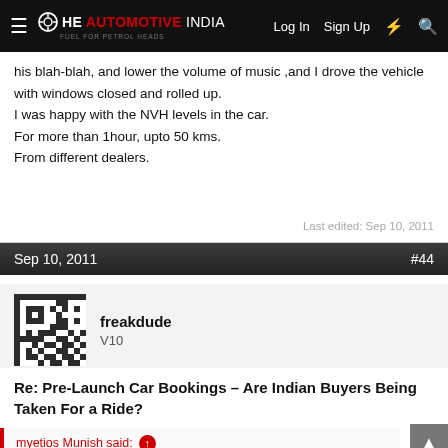The Automotive India — Log In  Sign Up  ⚡  🔍
his blah-blah, and lower the volume of music ,and I drove the vehicle with windows closed and rolled up.
I was happy with the NVH levels in the car.
For more than 1hour, upto 50 kms.
From different dealers.
Last edited: Sep 10, 2011
Sep 10, 2011   #44
freakdude
V10
Re: Pre-Launch Car Bookings – Are Indian Buyers Being Taken For a Ride?
myetios Munish said:
Test Drive is usually for 10 minutes and that too for 2 kilometers and in a city like Delhi where already the traffic noise is more than your vehicles noise, it is